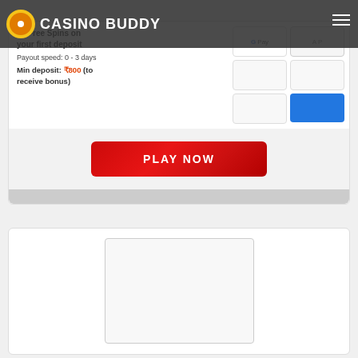CASINO BUDDY
20 Free Spins on your first deposit
Payout speed: 0 - 3 days
Min deposit: ₹800 (to receive bonus)
[Figure (screenshot): Payment method icons: Google Pay, and several other payment option boxes]
[Figure (other): PLAY NOW red button]
[Figure (other): Empty card/image placeholder box]